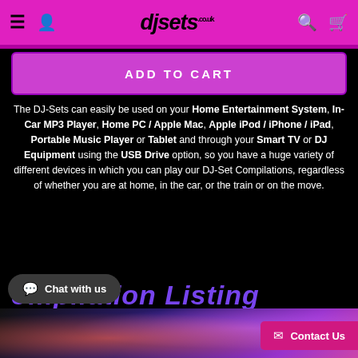djsets.co.uk
ADD TO CART
The DJ-Sets can easily be used on your Home Entertainment System, In-Car MP3 Player, Home PC / Apple Mac, Apple iPod / iPhone / iPad, Portable Music Player or Tablet and through your Smart TV or DJ Equipment using the USB Drive option, so you have a huge variety of different devices in which you can play our DJ-Set Compilations, regardless of whether you are at home, in the car, or the train or on the move.
Compilation Listing
Chat with us
Contact Us